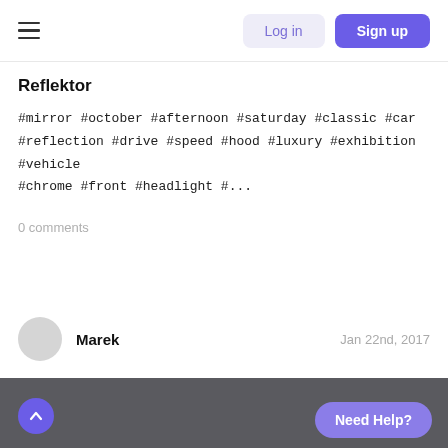Log in | Sign up
Reflektor
#mirror #october #afternoon #saturday #classic #car #reflection #drive #speed #hood #luxury #exhibition #vehicle #chrome #front #headlight #...
0 comments
Marek  Jan 22nd, 2017
[Figure (photo): Dark gray footer area]
Need Help?